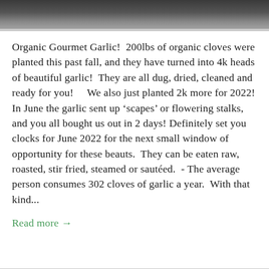[Figure (photo): Partial photo strip at top of page showing people outdoors, cropped to show only bottom portion]
Organic Gourmet Garlic!  200lbs of organic cloves were planted this past fall, and they have turned into 4k heads of beautiful garlic!  They are all dug, dried, cleaned and ready for you!    We also just planted 2k more for 2022! In June the garlic sent up ‘scapes’ or flowering stalks, and you all bought us out in 2 days! Definitely set you clocks for June 2022 for the next small window of opportunity for these beauts.  They can be eaten raw, roasted, stir fried, steamed or sautéed.  - The average person consumes 302 cloves of garlic a year.  With that kind...
Read more →